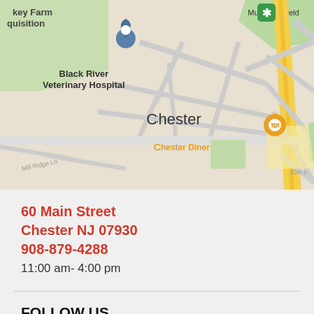[Figure (map): Google Maps screenshot showing Chester, NJ area with Black River Veterinary Hospital, Municipal Field, Chester Diner marker, and surrounding streets including Grove St, Budd Ave, Orange St, Fairmount Ave, Mill Ridge Ln, Elm St, and Maple Ave.]
60 Main Street
Chester NJ 07930
908-879-4288
11:00 am- 4:00 pm
FOLLOW US
[Figure (illustration): Social media icons row: Facebook, Twitter, Google+, Pinterest, Dribbble — all in red/coral color]